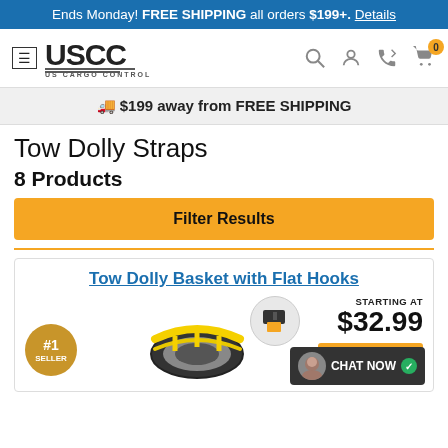Ends Monday! FREE SHIPPING all orders $199+. Details
[Figure (logo): US Cargo Control (USCC) logo with hamburger menu and navigation icons including search, user, phone, and cart with 0 items]
$199 away from FREE SHIPPING
Tow Dolly Straps
8 Products
Filter Results
Tow Dolly Basket with Flat Hooks
STARTING AT $32.99
CHOOSE OPTIONS